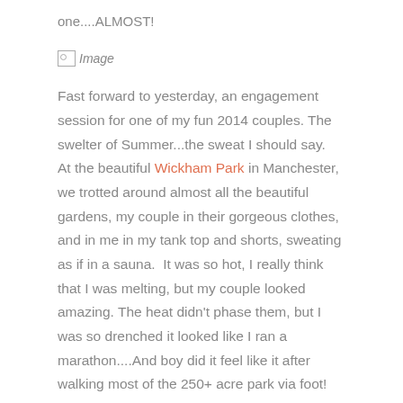one....ALMOST!
[Figure (other): Broken image placeholder labeled 'Image']
Fast forward to yesterday, an engagement session for one of my fun 2014 couples. The swelter of Summer...the sweat I should say.  At the beautiful Wickham Park in Manchester, we trotted around almost all the beautiful gardens, my couple in their gorgeous clothes, and in me in my tank top and shorts, sweating as if in a sauna.  It was so hot, I really think that I was melting, but my couple looked amazing. The heat didn't phase them, but I was so drenched it looked like I ran a marathon....And boy did it feel like it after walking most of the 250+ acre park via foot!
[Figure (other): Broken image placeholder labeled 'Image']